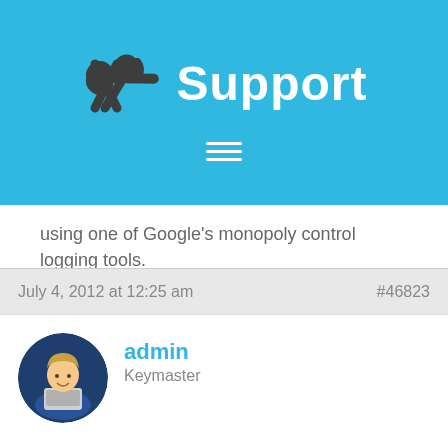Support
using one of Google's monopoly control logging tools.
Saw the other post with this request too. Please explain. I think many on this forum will understand what to modify if explained in detail.
Thank You,
All the best
July 4, 2012 at 12:25 am   #46823
admin
Keymaster